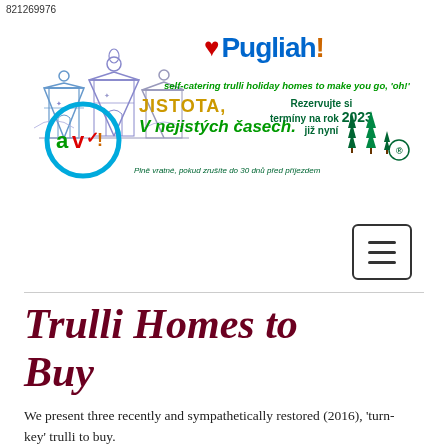821269976
[Figure (logo): PugliAh! holiday trulli website logo with blue line-art trulli illustration, red heart, blue and orange Puglia text, green tagline, AV circle badge, JISTOTA text, Rezervujte 2023 text, green tree icons, and refund policy text]
[Figure (other): Hamburger menu button (three horizontal lines in rounded rectangle)]
Trulli Homes to Buy
We present three recently and sympathetically restored (2016), 'turn-key' trulli to buy.